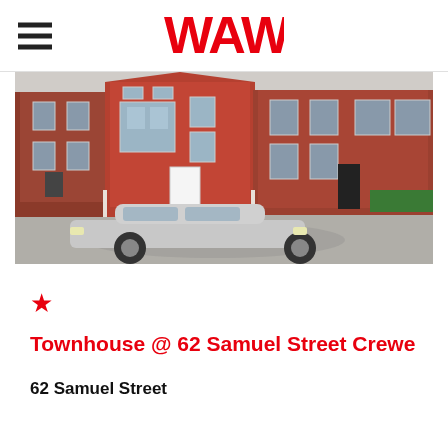WAW
[Figure (photo): Street view of red-brick Victorian terraced townhouses with a silver car parked in front, at 62 Samuel Street Crewe]
Townhouse @ 62 Samuel Street Crewe
62 Samuel Street